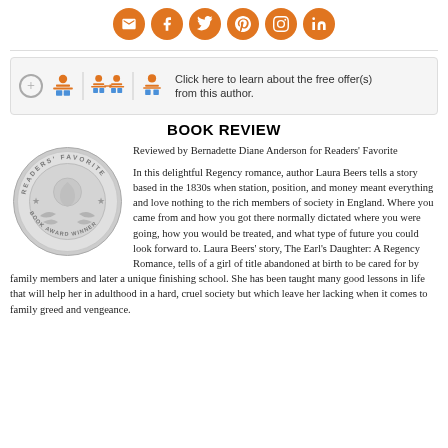[Figure (infographic): Row of 6 social media icons (envelope/email, Facebook, Twitter, Pinterest, Instagram, LinkedIn) as orange circles with white symbols]
[Figure (infographic): Offer bar with plus icon, reader/author icons, and text: Click here to learn about the free offer(s) from this author.]
BOOK REVIEW
[Figure (illustration): Readers' Favorite Book Award Winner silver medal/seal]
Reviewed by Bernadette Diane Anderson for Readers' Favorite

In this delightful Regency romance, author Laura Beers tells a story based in the 1830s when station, position, and money meant everything and love nothing to the rich members of society in England. Where you came from and how you got there normally dictated where you were going, how you would be treated, and what type of future you could look forward to. Laura Beers' story, The Earl's Daughter: A Regency Romance, tells of a girl of title abandoned at birth to be cared for by family members and later a unique finishing school. She has been taught many good lessons in life that will help her in adulthood in a hard, cruel society but which leave her lacking when it comes to family greed and vengeance.